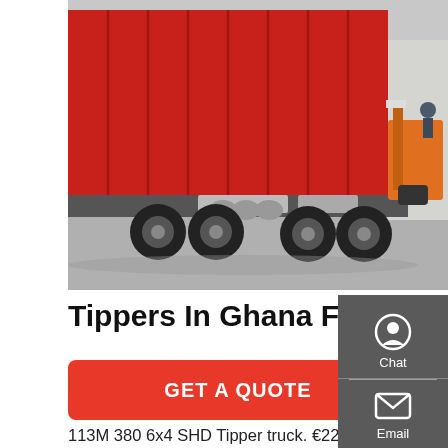[Figure (photo): Red tipper/dump truck parked in a lot, with an orange forklift visible in background on the right.]
Tippers In Ghana For Sale Prices On Jiji.Com.Gh
Tipper Trucks. You use a tipper to easily unload bulk cargoes on the construction site. 1,625 results. 12. Scania 113M 380 6x4 SHD Tipper truck. €22,521. Oudenburg, BE. 1995 557,327 km 6x4 Euro 2. Scania 113M 380 6x4 SHD Tipper truck. Scania P114-340 114-340 8x4 Tipper truck. €17,000. Nieuwerkerk aan den IJssel, NL. 1999 450,000 km
GET A QUOTE